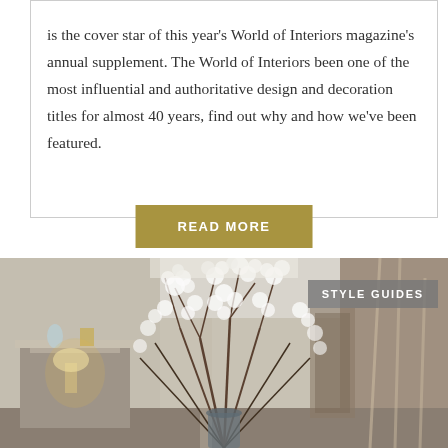is the cover star of this year's World of Interiors magazine's annual supplement. The World of Interiors been one of the most influential and authoritative design and decoration titles for almost 40 years, find out why and how we've been featured.
READ MORE
[Figure (photo): Interior room photo showing a large floral arrangement with white blossoms in a vase, fireplace mantel with decorative items on the left, staircase on the right, warm lamp lighting, with a 'STYLE GUIDES' badge overlay in the top right corner.]